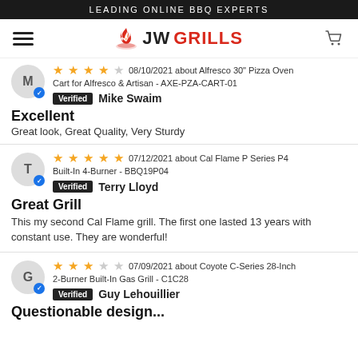LEADING ONLINE BBQ EXPERTS
[Figure (logo): JWGrills logo with flame icon, hamburger menu, and cart icon navigation bar]
08/10/2021 about Alfresco 30" Pizza Oven Cart for Alfresco & Artisan - AXE-PZA-CART-01
Verified  Mike Swaim
Excellent
Great look, Great Quality, Very Sturdy
07/12/2021 about Cal Flame P Series P4 Built-In 4-Burner - BBQ19P04
Verified  Terry Lloyd
Great Grill
This my second Cal Flame grill. The first one lasted 13 years with constant use. They are wonderful!
07/09/2021 about Coyote C-Series 28-Inch 2-Burner Built-In Gas Grill - C1C28
Verified  Guy Lehouillier
Questionable design...